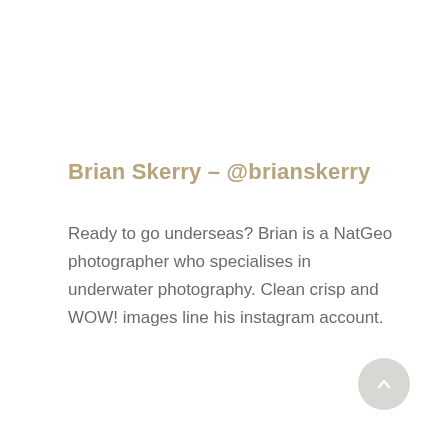Brian Skerry – @brianskerry
Ready to go underseas? Brian is a NatGeo photographer who specialises in underwater photography. Clean crisp and WOW! images line his instagram account.